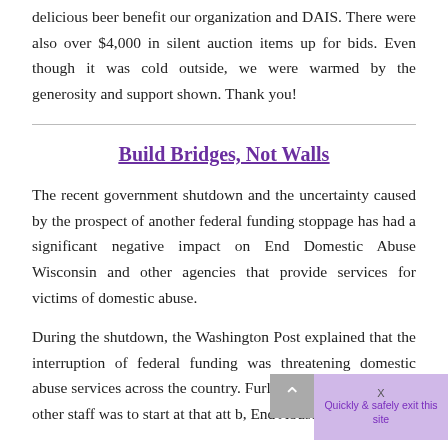delicious beer benefit our organization and DAIS. There were also over $4,000 in silent auction items up for bids. Even though it was cold outside, we were warmed by the generosity and support shown. Thank you!
Build Bridges, Not Walls
The recent government shutdown and the uncertainty caused by the prospect of another federal funding stoppage has had a significant negative impact on End Domestic Abuse Wisconsin and other agencies that provide services for victims of domestic abuse.
During the shutdown, the Washington Post explained that the interruption of federal funding was threatening domestic abuse services across the country. Furloughs of advocates and other staff was to start at that att b, End Abuse. Shee. To st...